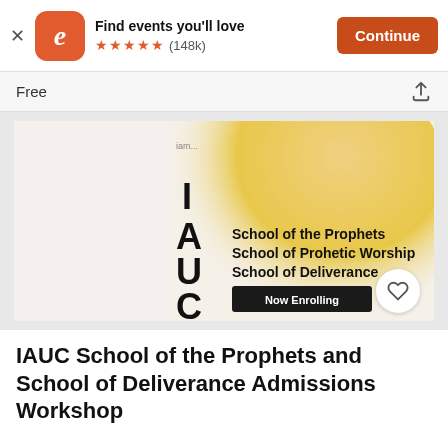[Figure (screenshot): Eventbrite app banner: orange rounded-square logo with white italic 'e', text 'Find events you'll love', five orange stars, rating (148k), and orange 'Continue' button]
Free
[Figure (illustration): Event promotional image with cream/gold circular gradient background. Large vertical letters I, A, U, C on left side. Text: 'School of the Prophets', 'School of Prohetic Worship', 'School of Deliverance'. Black button with 'Now Enrolling'. Small 'iam...' logo top left.]
IAUC School of the Prophets and School of Deliverance Admissions Workshop